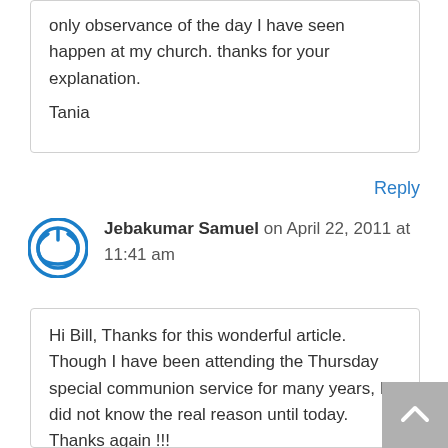only observance of the day I have seen happen at my church. thanks for your explanation.
Tania
Reply
Jebakumar Samuel on April 22, 2011 at 11:41 am
Hi Bill, Thanks for this wonderful article. Though I have been attending the Thursday special communion service for many years, I did not know the real reason until today. Thanks again !!!